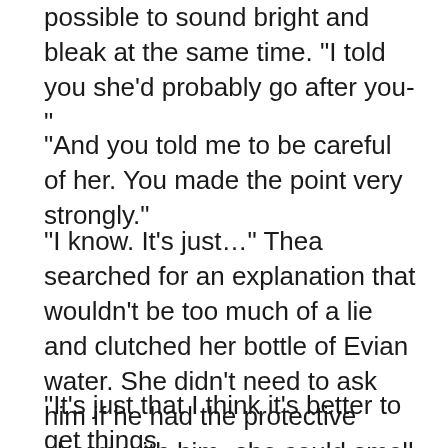possible to sound bright and bleak at the same time. "I told you she'd probably go after you-"
"And you told me to be careful of her. You made the point very strongly."
"I know. It's just…" Thea searched for an explanation that wouldn't be too much of a lie and clutched her bottle of Evian water. She didn't need to ask him if he had the protective charm with him- she could smell New Hampshire pine needles.
"It's just that I think it's better to get things